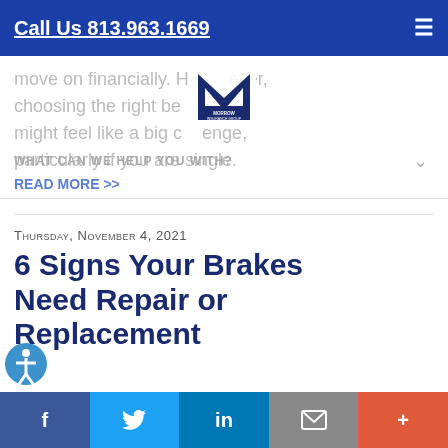Call Us 813.963.1669
move on financially. However, choosing the right beneficiary might feel like a big challenge, particularly if you are single.
READ MORE >>
[Figure (logo): Morrow Insurance Group logo — stylized M with company name below]
WHAT CAN WE HELP YOU WITH?
Thursday, November 4, 2021
6 Signs Your Brakes Need Repair or Replacement
When your car brakes, then you a...itializing a complex system of
f  Twitter  in  Email  +